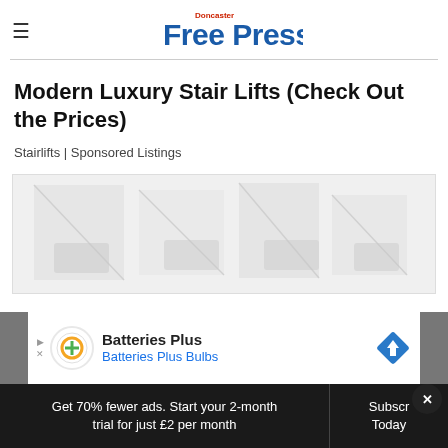Doncaster Free Press
Modern Luxury Stair Lifts (Check Out the Prices)
Stairlifts | Sponsored Listings
[Figure (photo): Placeholder image area with watermark-like faint graphic for stairlift advertisement]
[Figure (screenshot): Batteries Plus advertisement banner with logo, 'Batteries Plus Bulbs' text, and diamond road sign icon]
Get 70% fewer ads. Start your 2-month trial for just £2 per month  Subscribe Today